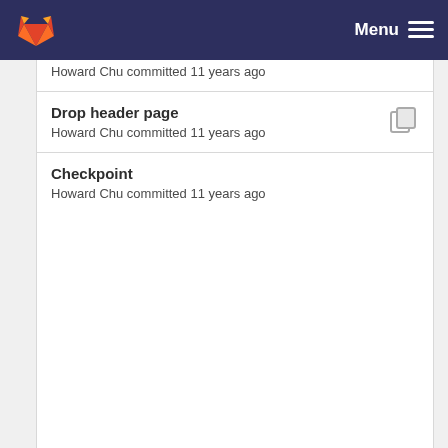GitLab — Menu
Howard Chu committed 11 years ago
Drop header page
Howard Chu committed 11 years ago
Checkpoint
Howard Chu committed 11 years ago